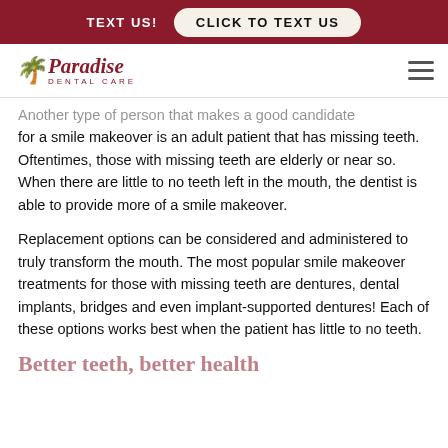TEXT US!  CLICK TO TEXT US
[Figure (logo): Paradise Dental Care logo with palm tree icon]
Another type of person that makes a good candidate for a smile makeover is an adult patient that has missing teeth. Oftentimes, those with missing teeth are elderly or near so. When there are little to no teeth left in the mouth, the dentist is able to provide more of a smile makeover.
Replacement options can be considered and administered to truly transform the mouth. The most popular smile makeover treatments for those with missing teeth are dentures, dental implants, bridges and even implant-supported dentures! Each of these options works best when the patient has little to no teeth.
Better teeth, better health